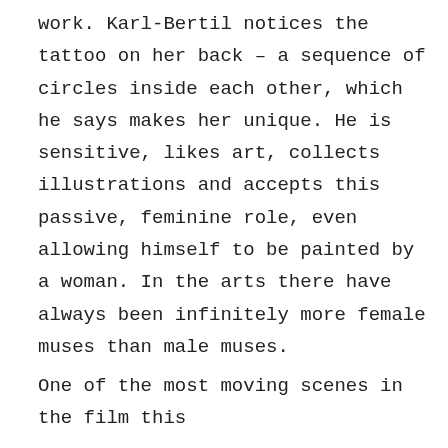work. Karl-Bertil notices the tattoo on her back – a sequence of circles inside each other, which he says makes her unique. He is sensitive, likes art, collects illustrations and accepts this passive, feminine role, even allowing himself to be painted by a woman. In the arts there have always been infinitely more female muses than male muses.
One of the most moving scenes in the film this...